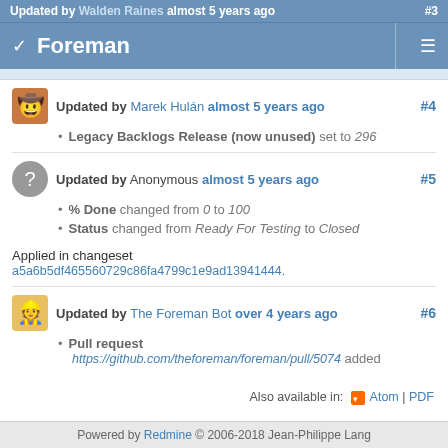Updated by Walden Raines almost 5 years ago #3
Foreman
Updated by Marek Hulán almost 5 years ago #4
Legacy Backlogs Release (now unused) set to 296
Updated by Anonymous almost 5 years ago #5
% Done changed from 0 to 100
Status changed from Ready For Testing to Closed
Applied in changeset a5a6b5df465560729c86fa4799c1e9ad13941444.
Updated by The Foreman Bot over 4 years ago #6
Pull request https://github.com/theforeman/foreman/pull/5074 added
Also available in: Atom | PDF
Powered by Redmine © 2006-2018 Jean-Philippe Lang